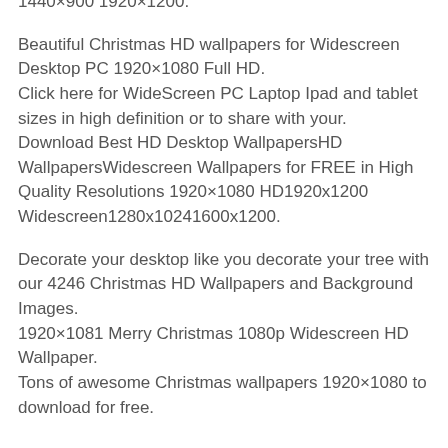1440×900 1920×1200.
Beautiful Christmas HD wallpapers for Widescreen Desktop PC 1920×1080 Full HD.
Click here for WideScreen PC Laptop Ipad and tablet sizes in high definition or to share with your.
Download Best HD Desktop WallpapersHD WallpapersWidescreen Wallpapers for FREE in High Quality Resolutions 1920×1080 HD1920x1200 Widescreen1280x10241600x1200.
Decorate your desktop like you decorate your tree with our 4246 Christmas HD Wallpapers and Background Images.
1920×1081 Merry Christmas 1080p Widescreen HD Wallpaper.
Tons of awesome Christmas wallpapers 1920×1080 to download for free.